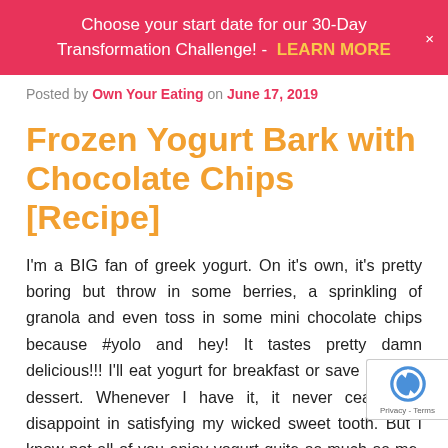Choose your start date for our 30-Day Transformation Challenge! - LEARN MORE
Posted by Own Your Eating on June 17, 2019
Frozen Yogurt Bark with Chocolate Chips [Recipe]
I'm a BIG fan of greek yogurt. On it's own, it's pretty boring but throw in some berries, a sprinkling of granola and even toss in some mini chocolate chips because #yolo and hey! It tastes pretty damn delicious!!! I'll eat yogurt for breakfast or save it up for dessert. Whenever I have it, it never ceases to disappoint in satisfying my wicked sweet tooth. But I know not all of you enjoy yogurt quite as much as me. But I bet you like ice cream, or maybe even a bark?! If so then I have a tasty creation for you falls somewhere between the two. Frozen yogurt